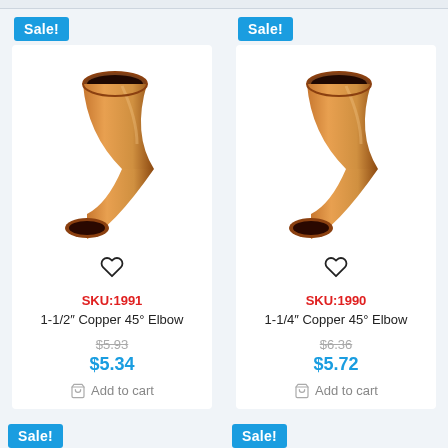[Figure (photo): Copper 45-degree elbow pipe fitting, 1-1/2 inch, viewed from angle showing two open ends]
SKU:1991
1-1/2″ Copper 45° Elbow
$5.93 (original price, struck through)
$5.34
Add to cart
[Figure (photo): Copper 45-degree elbow pipe fitting, 1-1/4 inch, viewed from angle showing two open ends]
SKU:1990
1-1/4″ Copper 45° Elbow
$6.36 (original price, struck through)
$5.72
Add to cart